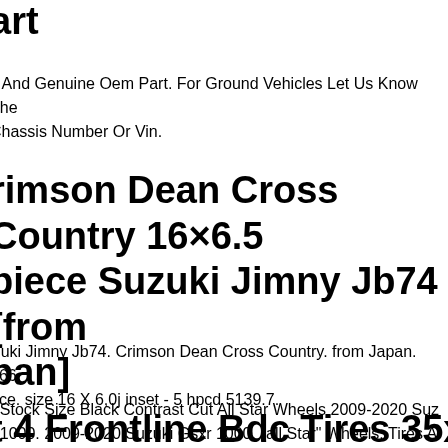art
y And Genuine Oem Part. For Ground Vehicles Let Us Know The Chassis Number Or Vin.
rimson Dean Cross Country 16×6.5 piece Suzuki Jimny Jb74 [from pan]
Suki Jimny Jb74. Crimson Dean Cross Country. from Japan. 166. ece. size 16 X 6,0j inset - 5 hpcd 5139.7.
r Stock Size Black Contrast Cut All Star Wheels 2009-2020 Suz r 1000. 2009-2020 Suzuki Gsxr 1000. "all Star" Wheels. Tires A Included.
t 4 Frontline Bdc Tires 35x10-15 C